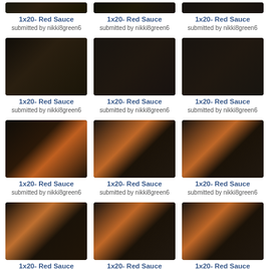[Figure (photo): Video screenshot thumbnail row 1 col 1 - partial]
1x20- Red Sauce
submitted by nikki8green6
[Figure (photo): Video screenshot thumbnail row 1 col 2 - partial]
1x20- Red Sauce
submitted by nikki8green6
[Figure (photo): Video screenshot thumbnail row 1 col 3 - partial]
1x20- Red Sauce
submitted by nikki8green6
[Figure (photo): Video screenshot thumbnail row 2 col 1]
1x20- Red Sauce
submitted by nikki8green6
[Figure (photo): Video screenshot thumbnail row 2 col 2]
1x20- Red Sauce
submitted by nikki8green6
[Figure (photo): Video screenshot thumbnail row 2 col 3]
1x20- Red Sauce
submitted by nikki8green6
[Figure (photo): Video screenshot thumbnail row 3 col 1]
1x20- Red Sauce
submitted by nikki8green6
[Figure (photo): Video screenshot thumbnail row 3 col 2]
1x20- Red Sauce
submitted by nikki8green6
[Figure (photo): Video screenshot thumbnail row 3 col 3]
1x20- Red Sauce
submitted by nikki8green6
[Figure (photo): Video screenshot thumbnail row 4 col 1]
1x20- Red Sauce
submitted by nikki8green6
[Figure (photo): Video screenshot thumbnail row 4 col 2]
1x20- Red Sauce
submitted by nikki8green6
[Figure (photo): Video screenshot thumbnail row 4 col 3]
1x20- Red Sauce
submitted by nikki8green6
[Figure (photo): Video screenshot thumbnail row 5 col 1 - partial]
1x20- Red Sauce
[Figure (photo): Video screenshot thumbnail row 5 col 2 - partial]
1x20- Red Sauce
[Figure (photo): Video screenshot thumbnail row 5 col 3 - partial]
1x20- Red Sauce